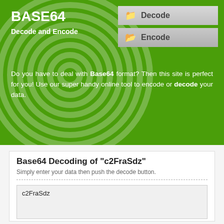BASE64
Decode and Encode
Do you have to deal with Base64 format? Then this site is perfect for you! Use our super handy online tool to encode or decode your data.
Base64 Decoding of "c2FraSdz"
Simply enter your data then push the decode button.
c2FraSdz